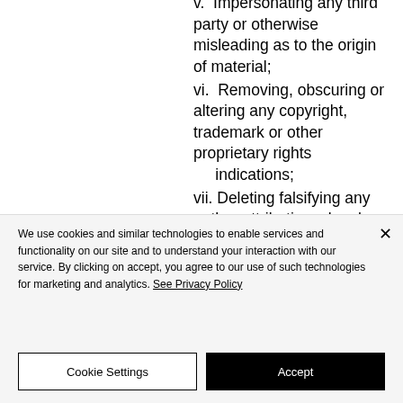v.  Impersonating any third party or otherwise misleading as to the origin of material;
vi.  Removing, obscuring or altering any copyright, trademark or other proprietary rights indications;
vii. Deleting falsifying any author attributions, legal
We use cookies and similar technologies to enable services and functionality on our site and to understand your interaction with our service. By clicking on accept, you agree to our use of such technologies for marketing and analytics. See Privacy Policy